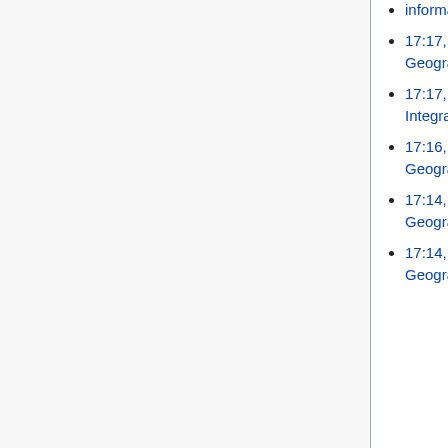information - Quality assurance of data supply
17:17, 4 May 2016 (diff | hist) . . (0) . . ISO/TS 19158:2012 Geographic information - Quality assurance of data supply
17:17, 4 May 2016 (diff | hist) . . (0) . . N File:MAfA SectionC Integrated V10 html 10 2.gif (current)
17:16, 4 May 2016 (diff | hist) . . (+44) . . ISO/TS 19158:2012 Geographic information - Quality assurance of data supply
17:14, 4 May 2016 (diff | hist) . . (-5) . . ISO/TS 19158:2012 Geographic information - Quality assurance of data supply
17:14, 4 May 2016 (diff | hist) . . (+42) . . ISO/TS 19158:2012 Geographic information - Quality assurance of data supply